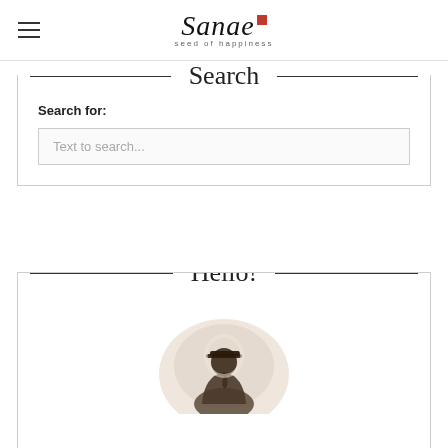Sanae — seed of happiness
Search
Search for:
Text to search...
Hello!
[Figure (photo): Person (silhouette/backlit) wearing a cap, viewed from behind, with soft background light]